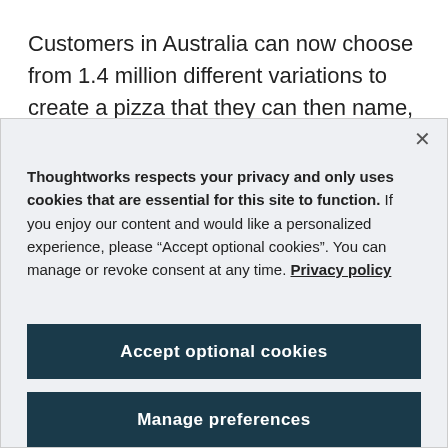Customers in Australia can now choose from 1.4 million different variations to create a pizza that they can then name, promote via their social networks,
Thoughtworks respects your privacy and only uses cookies that are essential for this site to function. If you enjoy our content and would like a personalized experience, please “Accept optional cookies”. You can manage or revoke consent at any time. Privacy policy
Accept optional cookies
Manage preferences